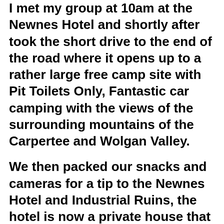I met my group at 10am at the Newnes Hotel and shortly after took the short drive to the end of the road where it opens up to a rather large free camp site with Pit Toilets Only, Fantastic car camping with the views of the surrounding mountains of the Carpertee and Wolgan Valley.
We then packed our snacks and cameras for a tip to the Newnes Hotel and Industrial Ruins, the hotel is now a private house that has history and old relics of the working area back in the early 1900's. For us it also ended up being a "tea and coffee" break with Scotch Finger biscuits, which was on the near at the hotel. Mind...